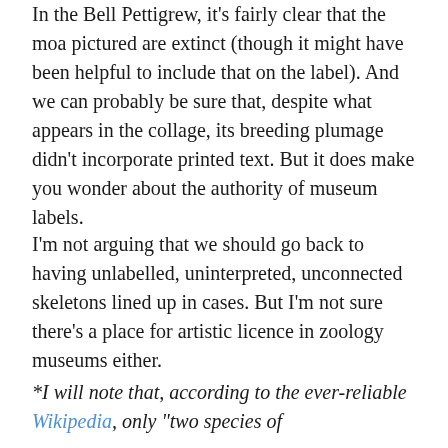In the Bell Pettigrew, it's fairly clear that the moa pictured are extinct (though it might have been helpful to include that on the label).  And we can probably be sure that, despite what appears in the collage, its breeding plumage didn't incorporate printed text.  But it does make you wonder about the authority of museum labels.
I'm not arguing that we should go back to having unlabelled, uninterpreted, unconnected skeletons lined up in cases.  But I'm not sure there's a place for artistic licence in zoology museums either.
*I will note that, according to the ever-reliable Wikipedia, only "two species of